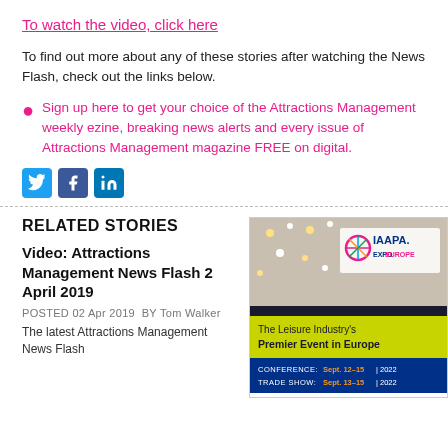To watch the video, click here
To find out more about any of these stories after watching the News Flash, check out the links below.
Sign up here to get your choice of the Attractions Management weekly ezine, breaking news alerts and every issue of Attractions Management magazine FREE on digital.
[Figure (other): Social media icons: Twitter (blue bird), Facebook (blue f), LinkedIn (blue in)]
RELATED STORIES
Video: Attractions Management News Flash 2 April 2019
POSTED 02 Apr 2019  BY Tom Walker
The latest Attractions Management News Flash
[Figure (photo): IAAPA Expo Europe advertisement showing a carousel with lights and text: The Leisure Industry's Premier Event in Europe. CONFERENCE: Sept. 12-15 | 2022, TRADE SHOW: Sept. 13-15 | 2022]